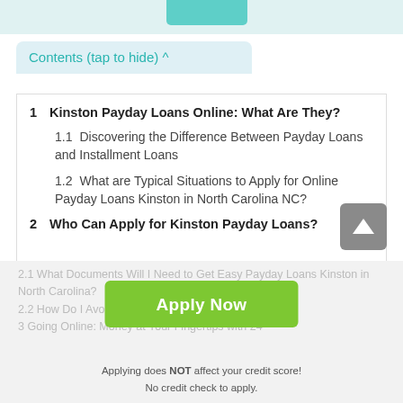Contents (tap to hide) ^
1  Kinston Payday Loans Online: What Are They?
1.1  Discovering the Difference Between Payday Loans and Installment Loans
1.2  What are Typical Situations to Apply for Online Payday Loans Kinston in North Carolina NC?
2  Who Can Apply for Kinston Payday Loans?
2.1  What Documents Will I Need to Get Easy Payday Loans Kinston in North Carolina?
2.2  How Do I Avoid Rejection?
3  Going Online: Money at Your Fingertips with 24
Apply Now
Applying does NOT affect your credit score!
No credit check to apply.